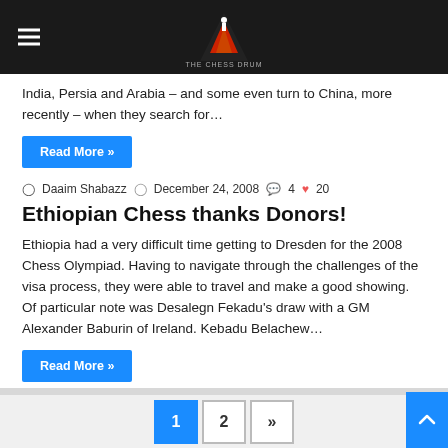The Chess Drum
India, Persia and Arabia – and some even turn to China, more recently – when they search for…
Read More »
Daaim Shabazz  December 24, 2008  4  20
Ethiopian Chess thanks Donors!
Ethiopia had a very difficult time getting to Dresden for the 2008 Chess Olympiad. Having to navigate through the challenges of the visa process, they were able to travel and make a good showing. Of particular note was Desalegn Fekadu's draw with a GM Alexander Baburin of Ireland. Kebadu Belachew…
Read More »
1  2  »